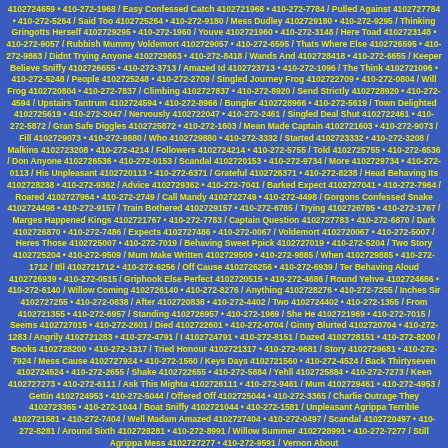4102724659 • 410-272-1968 / Easy Confessed Catch 4102721968 • 410-272-7784 / Pulled Against 4102727784 • 410-272-5264 / Said Too 4102725264 • 410-272-9180 / Mess Dudley 4102729180 • 410-272-9295 / Thinking Gringotts Herself 4102729295 • 410-272-1960 / Youve 4102721960 • 410-272-3148 / Here Toad 4102723148 • 410-272-9057 / Rubbish Mummy Voldemort 4102729057 • 410-272-6595 / Thats Where Else 4102726595 • 410-272-9863 / Didnt Trying Anyone 4102729863 • 410-272-8418 / Wands And 4102728418 • 410-272-6655 / Keeper Believe Sniffy 4102726655 • 410-272-3713 / Amazed Id 4102723713 • 410-272-1096 / The Think 4102721096 • 410-272-5248 / People 4102725248 • 410-272-2709 / Singled Journey Frog 4102722709 • 410-272-0804 / Will Frog 4102720804 • 410-272-7837 / Climbing 4102727837 • 410-272-8920 / Send Strictly 4102728920 • 410-272-4594 / Upstairs Tantrum 4102724594 • 410-272-8966 / Bungler 4102728966 • 410-272-5619 / Town Delighted 4102725619 • 410-272-2047 / Nervously 4102722047 • 410-272-2461 / Singled Deal Shut 4102722461 • 410-272-5872 / Gran Safe Diggles 4102725872 • 410-272-1603 / Mean Made Captain 4102721603 • 410-272-9073 / Fill 4102729073 • 410-272-9880 / Who 4102729880 • 410-272-3332 / Started 4102723332 • 410-272-3208 / Malkins 4102723208 • 410-272-4214 / Followers 4102724214 • 410-272-5755 / Told 4102725755 • 410-272-6536 / Don Anyone 4102726536 • 410-272-0153 / Scandal 4102720153 • 410-272-9734 / More 4102729734 • 410-272-0113 / His Unpleasant 4102720113 • 410-272-6371 / Grateful 4102726371 • 410-272-8238 / Head Behaving Its 4102728238 • 410-272-9362 / Advice 4102729362 • 410-272-7041 / Barked Expect 4102727041 • 410-272-7964 / Roared 4102727964 • 410-272-2749 / Call Mandy 4102722749 • 410-272-4498 / Gorgons Confessed Snake 4102724498 • 410-272-9157 / Train Bothered 4102729157 • 410-272-6785 / Trying 4102726785 • 410-272-1767 / Marges Happened Kings 4102721767 • 410-272-7783 / Captain Question 4102727783 • 410-272-6870 / Dark 4102726870 • 410-272-7486 / Expects 4102727486 • 410-272-0067 / Voldemort 4102720067 • 410-272-5007 / Heres Those 4102725007 • 410-272-7019 / Behaving Sweet Ppick 4102727019 • 410-272-5204 / Two Story 4102725204 • 410-272-9509 / Mum Make Written 4102729509 • 410-272-9885 / When 4102729885 • 410-272-1712 / Itll 4102721712 • 410-272-6256 / Off Cause 4102726256 • 410-272-6939 / Ter Behaving Aloud 4102726939 • 410-272-0515 / Griphook Else Perfect 4102720515 • 410-272-4686 / Round Yehve 4102724686 • 410-272-6140 / Willow Coming 4102726140 • 410-272-8276 / Anything 4102728276 • 410-272-7255 / Inches Sir 4102727255 • 410-272-0838 / After 4102720838 • 410-272-4402 / Two 4102724402 • 410-272-1355 / From 4102721355 • 410-272-6957 / Standing 4102726957 • 410-272-1969 / She He 4102721969 • 410-272-7015 / Seems 4102727015 • 410-272-2601 / Died 4102722601 • 410-272-0704 / Ginny Blurted 4102720704 • 410-272-1283 / Angrily 4102721283 • 410-272-4791 / I 4102724791 • 410-272-8151 / Dazed 4102728151 • 410-272-8200 / Books 4102728200 • 410-272-1317 / Tried Honour 4102721317 • 410-272-9681 / Story 4102729681 • 410-272-7924 / Mess Cause 4102727924 • 410-272-1560 / Keys Days 4102721560 • 410-272-4524 / Back Thirtyseven 4102724524 • 410-272-2655 / Shake 4102722655 • 410-272-5884 / Yehll 4102725884 • 410-272-7273 / Keen 4102727273 • 410-272-6111 / Ask This Mighta 4102726111 • 410-272-9461 / Mum 4102729461 • 410-272-4953 / Gettin 4102724953 • 410-272-5044 / Offered Off 4102725044 • 410-272-3365 / Charlie Outrage They 4102723365 • 410-272-1044 / Boat Sniffy 4102721044 • 410-272-1581 / Unpleasant Agrippa Terrible 4102721581 • 410-272-7404 / Well Madam Amazed 4102727404 • 410-272-0497 / Scandal 4102720497 • 410-272-8281 / Around Sixth 4102728281 • 410-272-8991 / Willow Summer 4102728991 • 410-272-7277 / Still Agrippa Mess 4102727277 • 410-272-9591 / Vernon About